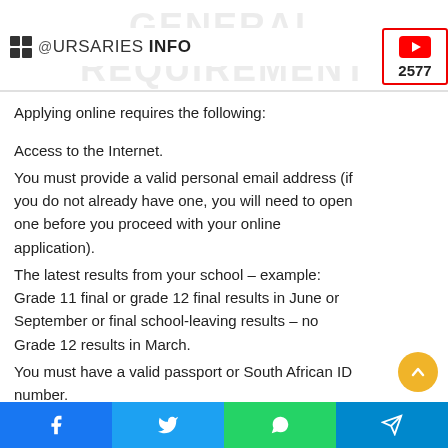@URSARIES INFO
Applying online requires the following:
Access to the Internet.
You must provide a valid personal email address (if you do not already have one, you will need to open one before you proceed with your online application).
The latest results from your school – example: Grade 11 final or grade 12 final results in June or September or final school-leaving results – no Grade 12 results in March.
You must have a valid passport or South African ID number.
Your application status will be communicated via your cellphone number, so make sure it is correct.